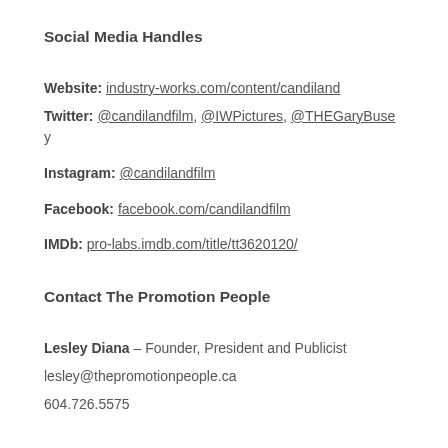Social Media Handles
Website: industry-works.com/content/candiland
Twitter: @candilandfilm, @IWPictures, @THEGaryBusey
Instagram: @candilandfilm
Facebook: facebook.com/candilandfilm
IMDb: pro-labs.imdb.com/title/tt3620120/
Contact The Promotion People
Lesley Diana – Founder, President and Publicist
lesley@thepromotionpeople.ca
604.726.5575
Website: thepromotionpeople.ca
Twitter: @PromotionPeople